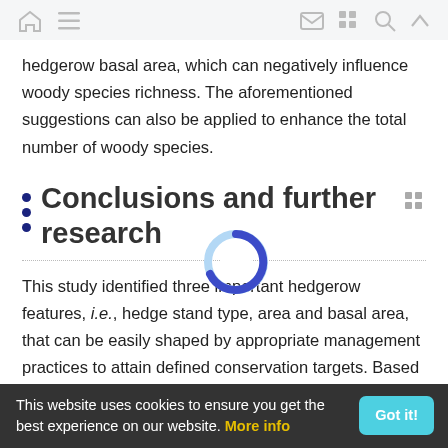[ Navigation bar with home, menu, mail, grid, search, and up icons ]
hedgerow basal area, which can negatively influence woody species richness. The aforementioned suggestions can also be applied to enhance the total number of woody species.
Conclusions and further research
This study identified three important hedgerow features, i.e., hedge stand type, area and basal area, that can be easily shaped by appropriate management practices to attain defined conservation targets. Based on the study results, the following practices can be recommended to enhance native
This website uses cookies to ensure you get the best experience on our website. More info